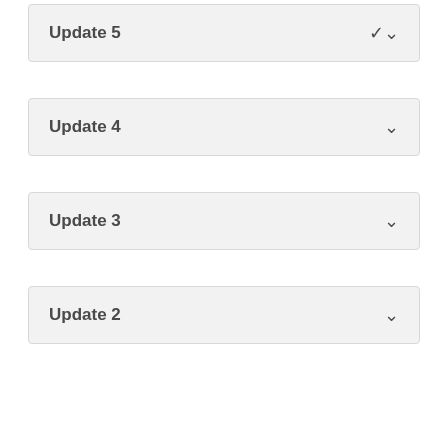Update 5
Update 4
Update 3
Update 2